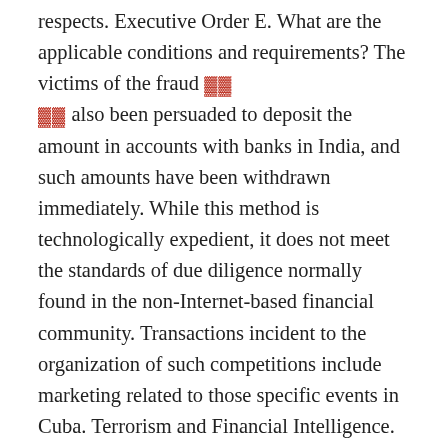respects. Executive Order E. What are the applicable conditions and requirements? The victims of the fraud [REDACTED] also been persuaded to deposit the amount in accounts with banks in India, and such amounts have been withdrawn immediately. While this method is technologically expedient, it does not meet the standards of due diligence normally found in the non-Internet-based financial community. Transactions incident to the organization of such competitions include marketing related to those specific events in Cuba. Terrorism and Financial Intelligence. In order to minimize their liabilities, Internet remittance and account service firms should attempt to gather authentic identification information on their customers before a new account is opened or new transaction is initiated. Your bank also could talk to a variety of software vendors who can easily be located by doing an Internet search. If there is a potential match, the credit bureaus may place a "red flag" or alert on the report. With effect from March 28,issuance of personal